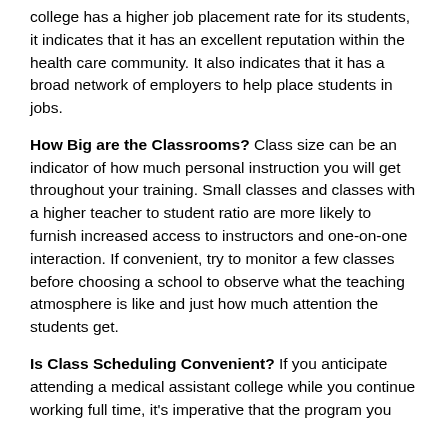college has a higher job placement rate for its students, it indicates that it has an excellent reputation within the health care community. It also indicates that it has a broad network of employers to help place students in jobs.
How Big are the Classrooms? Class size can be an indicator of how much personal instruction you will get throughout your training. Small classes and classes with a higher teacher to student ratio are more likely to furnish increased access to instructors and one-on-one interaction. If convenient, try to monitor a few classes before choosing a school to observe what the teaching atmosphere is like and just how much attention the students get.
Is Class Scheduling Convenient? If you anticipate attending a medical assistant college while you continue working full time, it's imperative that the program you